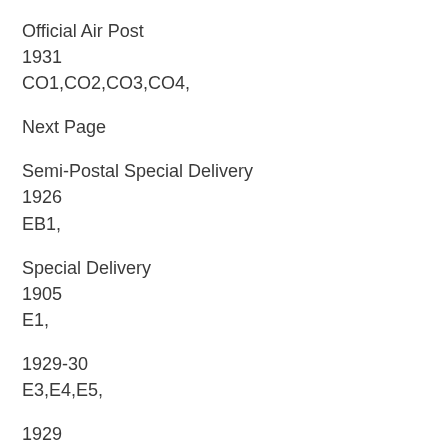Official Air Post
1931
CO1,CO2,CO3,CO4,
Next Page
Semi-Postal Special Delivery
1926
EB1,
Special Delivery
1905
E1,
1929-30
E3,E4,E5,
1929
E2,